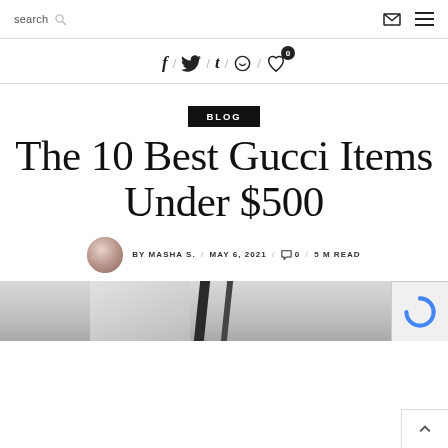search  [search icon]  [envelope icon]  [menu icon]
[Figure (infographic): Social sharing icons row: Facebook f, Twitter bird, Tumblr t, WhatsApp chat, Heart like with badge showing 0]
BLOG
The 10 Best Gucci Items Under $500
BY MASHA S. / MAY 6, 2021 / 0 / 5 M READ
[Figure (photo): Black and white photo of Gucci items, partially visible at bottom of page]